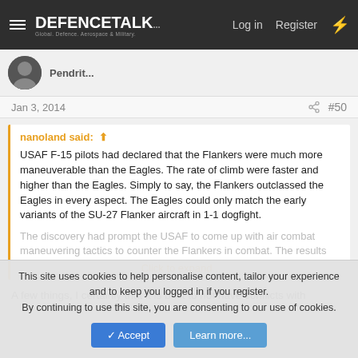DEFENCETALK — Log in | Register
Jan 3, 2014   #50
nanoland said:
USAF F-15 pilots had declared that the Flankers were much more maneuverable than the Eagles. The rate of climb were faster and higher than the Eagles. Simply to say, the Flankers outclassed the Eagles in every aspect. The Eagles could only match the early variants of the SU-27 Flanker aircraft in 1-1 dogfight.
The discovery had prompt the USAF to come up with air combat maneuvering tactics to counter the Flankers in combat. The results
Click to expand...
A few things, I certainly that it is best to not have conflicts with
This site uses cookies to help personalise content, tailor your experience and to keep you logged in if you register.
By continuing to use this site, you are consenting to our use of cookies.